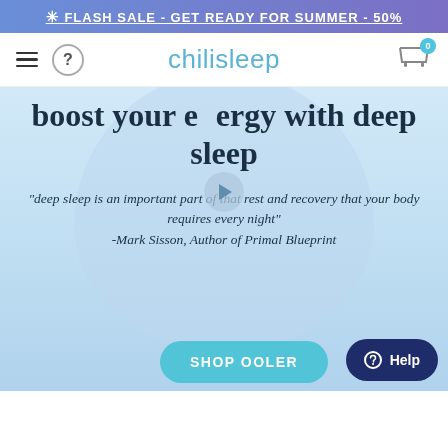✳ FLASH SALE - GET READY FOR SUMMER - 50%
chilisleep — navigation bar with hamburger menu, help button, and cart (0 items)
boost your energy with deep sleep
"deep sleep is an important part of that rest and recovery that your body requires every night" -Mark Sisson, Author of Primal Blueprint
SHOP OOLER
Help